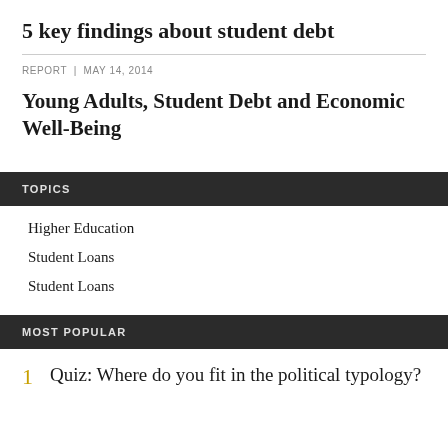5 key findings about student debt
REPORT | MAY 14, 2014
Young Adults, Student Debt and Economic Well-Being
TOPICS
Higher Education
Student Loans
Student Loans
MOST POPULAR
1  Quiz: Where do you fit in the political typology?